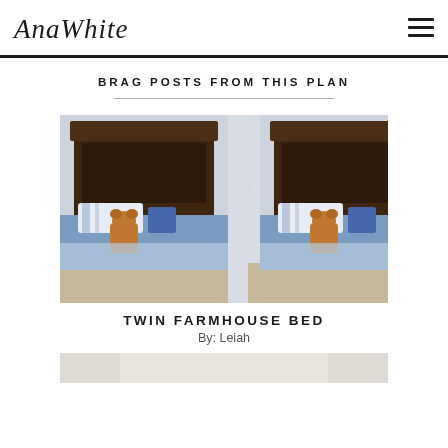AnaWhite  [hamburger menu]
BRAG POSTS FROM THIS PLAN
[Figure (photo): Two twin farmhouse beds side by side with dark wood headboards, blue bedding, and stuffed animal toys on each bed. Blueprint-style wallpaper in the background.]
TWIN FARMHOUSE BED
By: Leiah
[Figure (photo): Partial view of another bed post at the bottom of the page, cropped.]